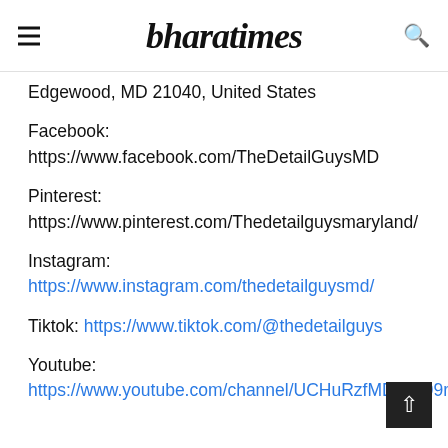bharatimes
Edgewood, MD 21040, United States
Facebook: https://www.facebook.com/TheDetailGuysMD
Pinterest: https://www.pinterest.com/Thedetailguysmaryland/
Instagram: https://www.instagram.com/thedetailguysmd/
Tiktok: https://www.tiktok.com/@thedetailguys
Youtube: https://www.youtube.com/channel/UCHuRzfMD8iKi99rsGnbs0DA